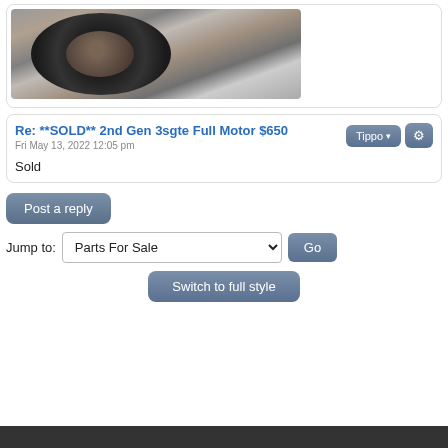[Figure (photo): Photo of a car wheel hub/rotor part on a concrete surface, partially visible at top of page]
Re: **SOLD** 2nd Gen 3sgte Full Motor $650
Fri May 13, 2022 12:05 pm
Sold
Post a reply
Jump to: Parts For Sale  Go
Switch to full style